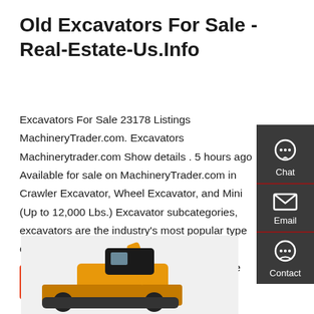Old Excavators For Sale - Real-Estate-Us.Info
Excavators For Sale 23178 Listings MachineryTrader.com. Excavators Machinerytrader.com Show details . 5 hours ago Available for sale on MachineryTrader.com in Crawler Excavator, Wheel Excavator, and Mini (Up to 12,000 Lbs.) Excavator subcategories, excavators are the industry's most popular type of construction (and demolition) machinery.Primary uses of excavators include digging, movin...
[Figure (other): Get a quote button (red/orange CTA button)]
[Figure (other): Right sidebar with Chat, Email, Contact icons on dark gray background]
[Figure (photo): Yellow/orange excavator machinery photo at bottom of page]